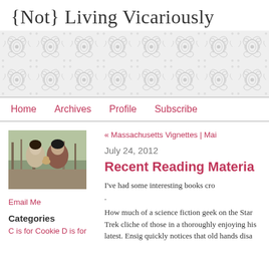{Not} Living Vicariously
[Figure (illustration): Decorative damask/floral wallpaper pattern in light gray on white background, used as the blog header banner.]
Home | Archives | Profile | Subscribe
[Figure (photo): Photo of a man and a woman outdoors in a wooded area, with what appears to be a dog between them. The man is wearing a dark red shirt.]
Email Me
Categories
C is for Cookie D is for
« Massachusetts Vignettes | Mai
July 24, 2012
Recent Reading Materia
I've had some interesting books cro
.
How much of a science fiction geek on the Star Trek cliche of those in a thoroughly enjoying his latest. Ensig quickly notices that old hands disa